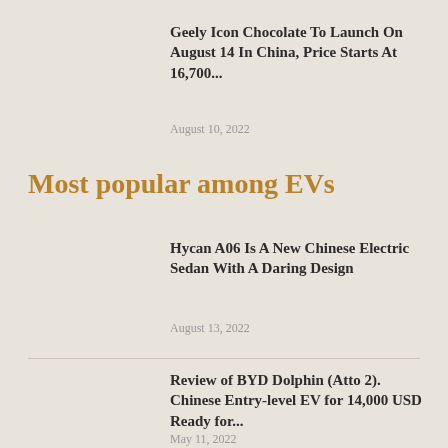Geely Icon Chocolate To Launch On August 14 In China, Price Starts At 16,700...
August 10, 2022
Most popular among EVs
Hycan A06 Is A New Chinese Electric Sedan With A Daring Design
August 13, 2022
Review of BYD Dolphin (Atto 2). Chinese Entry-level EV for 14,000 USD Ready for...
May 11, 2022